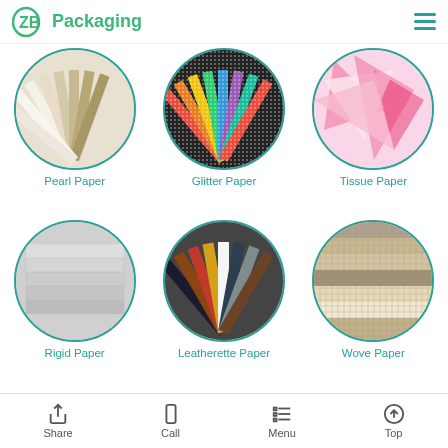ZB Packaging
[Figure (photo): Circle image of Pearl Paper - fan of beige/cream colored paper sheets]
Pearl Paper
[Figure (photo): Circle image of Glitter Paper - colorful glitter paper sheets fanned out]
Glitter Paper
[Figure (photo): Circle image of Tissue Paper - pink and soft colored tissue paper sheets]
Tissue Paper
[Figure (photo): Circle image of Rigid Paper - gray stacked rigid cardboard sheets]
Rigid Paper
[Figure (photo): Circle image of Leatherette Paper - multi-colored leatherette paper fan]
Leatherette Paper
[Figure (photo): Circle image of Wove Paper - textured woven-look paper in various colors]
Wove Paper
Magnetic Kettle Packaging Box Common Finishing
1. All Magnetic Kettle Packaging Box can be completed by the customized
Share  Call  Menu  Top